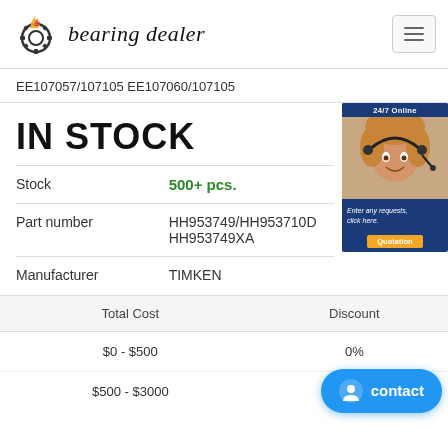[Figure (logo): Bearing dealer logo with flaming gear icon and italic text 'bearing dealer']
EE107057/107105 EE107060/107105
IN STOCK
|  |  |
| --- | --- |
| Stock | 500+ pcs. |
| Part number | HH953749/HH953710D HH953749XA |
| Manufacturer | TIMKEN |
[Figure (photo): 24/7 Online chat widget showing a customer service representative with headset, text 'Enter any requests, click here.' and Quotation button]
| Total Cost | Discount |
| --- | --- |
| $0 - $500 | 0% |
| $500 - $3000 |  |
contact